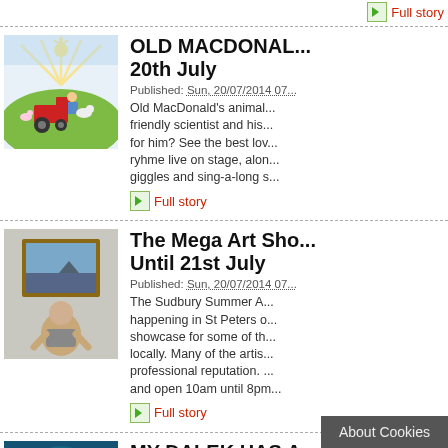Full story
[Figure (illustration): Cartoon illustration of Old MacDonald scene with tractor, farmer, animals, and bright sunrays on green hill]
OLD MACDONALD... 20th July
Published: Sun, 20/07/2014 07...
Old MacDonald's animal... friendly scientist and his... for him? See the best lov... ryhme live on stage, alon... giggles and sing-a-long s...
Full story
[Figure (photo): Man standing in front of a framed seascape painting]
The Mega Art Sho... Until 21st July
Published: Sun, 20/07/2014 07...
The Sudbury Summer A... happening in St Peters o... showcase for some of th... locally. Many of the artis... professional reputation. ... and open 10am until 8pm...
Full story
[Figure (photo): Blue-painted person in theatrical costume, dramatic sci-fi styling]
MY DALEK HAS A... Sudbury, 19th Jul...
Published: Sat, 19/07/2014 06...
A light... w... to Sci...
About Cookies